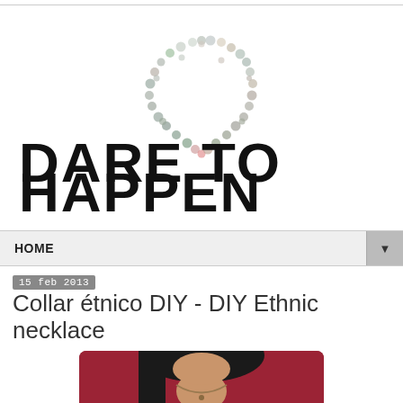[Figure (logo): Dare To Happen blog logo — large hand-lettered text 'DARE TO HAPPEN' with a heart shape made of colorful dots above/behind the text]
HOME ▼
15 feb 2013
Collar étnico DIY - DIY Ethnic necklace
[Figure (photo): Photo of a woman with dark hair wearing a red/maroon top and an ethnic necklace, cropped to show neck and upper chest area]